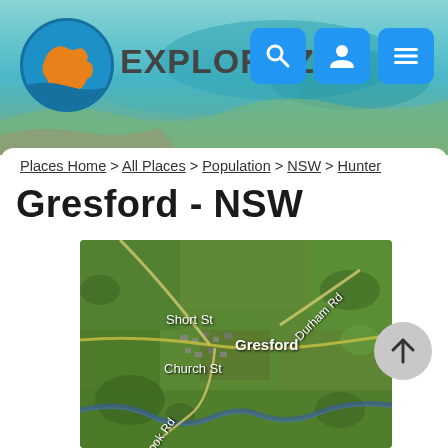EXPLOROZ
Places Home > All Places > Population > NSW > Hunter
Gresford - NSW
[Figure (map): Aerial/satellite map of Gresford NSW showing Short St, Church St, Durham Rd, Cook Rd street labels and the town name Gresford overlaid on green agricultural land]